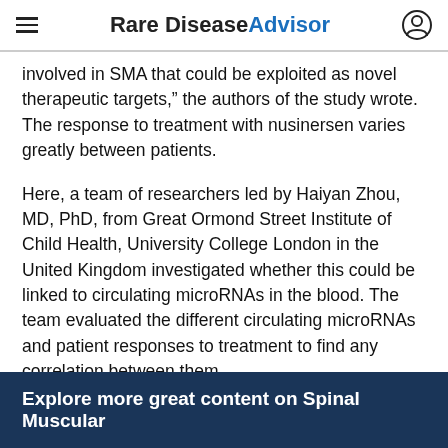Rare Disease Advisor
involved in SMA that could be exploited as novel therapeutic targets,” the authors of the study wrote. The response to treatment with nusinersen varies greatly between patients.
Here, a team of researchers led by Haiyan Zhou, MD, PhD, from Great Ormond Street Institute of Child Health, University College London in the United Kingdom investigated whether this could be linked to circulating microRNAs in the blood. The team evaluated the different circulating microRNAs and patient responses to treatment to find any correlation between them.
Explore more great content on Spinal Muscular